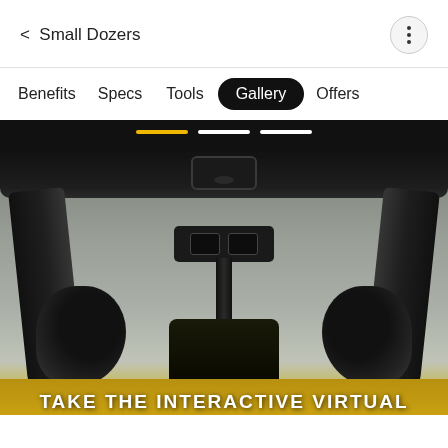< Small Dozers
Benefits  Specs  Tools  Gallery  Offers
[Figure (photo): Interior cab view of a small dozer showing the ceiling frame, rearview mirror, pillars, and yellow dozer blade visible at the bottom. Active gallery carousel with three indicator bars shown at top.]
TAKE THE INTERACTIVE VIRTUAL